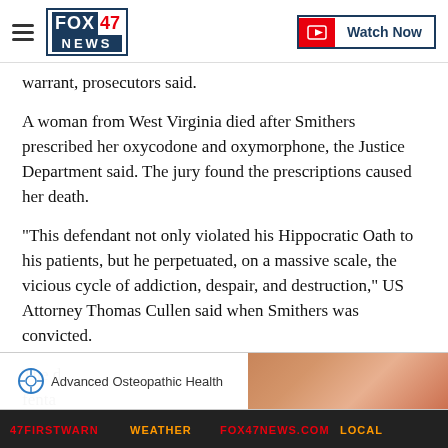FOX 47 NEWS | Watch Now
warrant, prosecutors said.
A woman from West Virginia died after Smithers prescribed her oxycodone and oxymorphone, the Justice Department said. The jury found the prescriptions caused her death.
"This defendant not only violated his Hippocratic Oath to his patients, but he perpetuated, on a massive scale, the vicious cycle of addiction, despair, and destruction," US Attorney Thomas Cullen said when Smithers was convicted.
The d  s --
fenta
[Figure (screenshot): Advertisement banner for Advanced Osteopathic Health with logo text and a photo of a person's arm/shoulder]